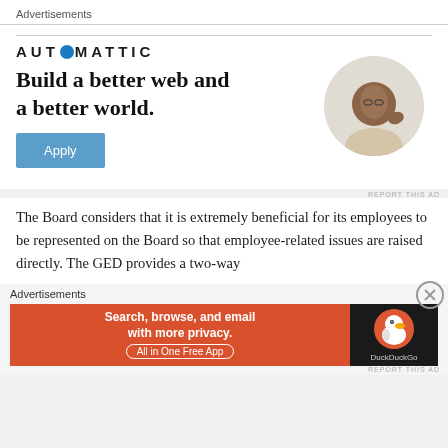Advertisements
[Figure (logo): Automattic logo in uppercase spaced letters with a circular icon replacing the 'O']
[Figure (infographic): Advertisement for Automattic: headline 'Build a better web and a better world.' with an Apply button and a circular photo of a man thinking at a desk]
REPORT THIS AD
The Board considers that it is extremely beneficial for its employees to be represented on the Board so that employee-related issues are raised directly. The GED provides a two-way
Advertisements
[Figure (infographic): DuckDuckGo advertisement banner: orange left panel reading 'Search, browse, and email with more privacy. All in One Free App' and black right panel with DuckDuckGo duck logo and brand name]